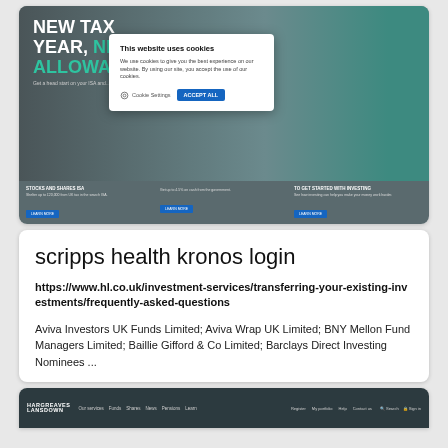[Figure (screenshot): Screenshot of Hargreaves Lansdown website with a 'NEW TAX YEAR, NEW ALLOWA...' banner and a cookie consent modal overlay reading 'This website uses cookies' with Cookie Settings and ACCEPT ALL buttons. Below are three product strips for Stocks and Shares ISA, another product, and 'TO GET STARTED WITH INVESTING'.]
scripps health kronos login
https://www.hl.co.uk/investment-services/transferring-your-existing-investments/frequently-asked-questions
Aviva Investors UK Funds Limited; Aviva Wrap UK Limited; BNY Mellon Fund Managers Limited; Baillie Gifford & Co Limited; Barclays Direct Investing Nominees ...
[Figure (screenshot): Partial screenshot of Hargreaves Lansdown website showing dark navigation bar with HL logo and nav links.]